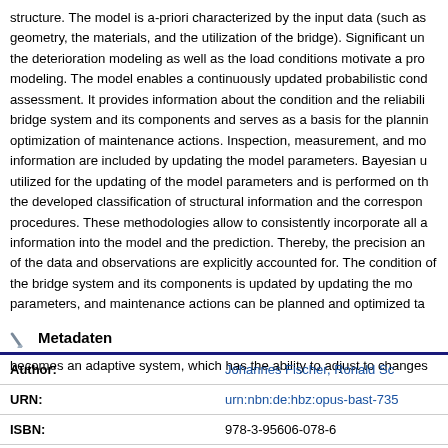structure. The model is a-priori characterized by the input data (such as geometry, the materials, and the utilization of the bridge). Significant uncertainties in the deterioration modeling as well as the load conditions motivate a probabilistic modeling. The model enables a continuously updated probabilistic condition assessment. It provides information about the condition and the reliability of the bridge system and its components and serves as a basis for the planning and optimization of maintenance actions. Inspection, measurement, and monitoring information are included by updating the model parameters. Bayesian updating is utilized for the updating of the model parameters and is performed on the basis of the developed classification of structural information and the corresponding procedures. These methodologies allow to consistently incorporate all available information into the model and the prediction. Thereby, the precision and accuracy of the data and observations are explicitly accounted for. The condition assessment of the bridge system and its components is updated by updating the model parameters, and maintenance actions can be planned and optimized taking into account all available information in a rational and consistent manner. In this context, intelligent bridge with inspections, measurements, and monitoring information becomes an adaptive system, which has the ability to adjust to changes
Metadaten
| Author: | Johannes Fischer, Ronald Sc... |
| --- | --- |
| URN: | urn:nbn:de:hbz:opus-bast-735... |
| ISBN: | 978-3-95606-078-6 |